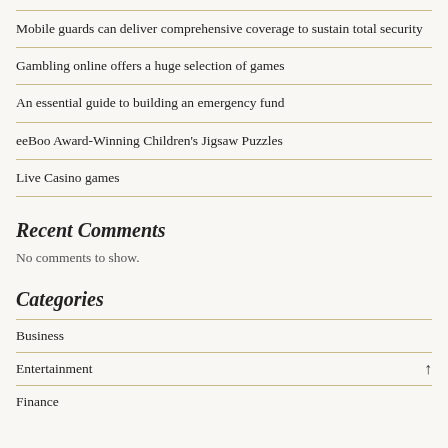Mobile guards can deliver comprehensive coverage to sustain total security
Gambling online offers a huge selection of games
An essential guide to building an emergency fund
eeBoo Award-Winning Children's Jigsaw Puzzles
Live Casino games
Recent Comments
No comments to show.
Categories
Business
Entertainment
Finance